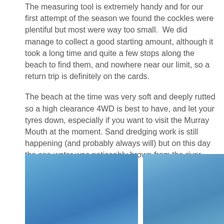The measuring tool is extremely handy and for our first attempt of the season we found the cockles were plentiful but most were way too small. We did manage to collect a good starting amount, although it took a long time and quite a few stops along the beach to find them, and nowhere near our limit, so a return trip is definitely on the cards.
The beach at the time was very soft and deeply rutted so a high clearance 4WD is best to have, and let your tyres down, especially if you want to visit the Murray Mouth at the moment. Sand dredging work is still happening (and probably always will) but on this day the sea water was noticeably brown from the river water rushing out.
[Figure (photo): Left photo showing a blue sky scene, likely beach or outdoor setting]
[Figure (photo): Right photo showing a blue sky scene, likely beach or outdoor setting]